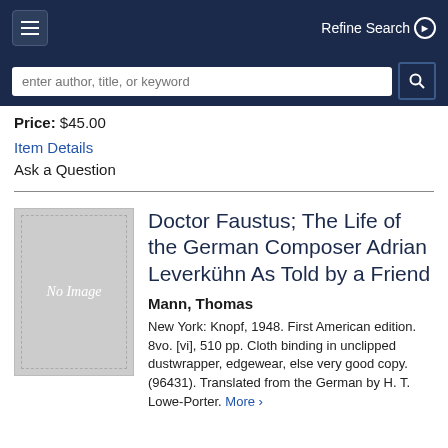Refine Search
Price: $45.00
Item Details
Ask a Question
Doctor Faustus; The Life of the German Composer Adrian Leverkühn As Told by a Friend
Mann, Thomas
New York: Knopf, 1948. First American edition. 8vo. [vi], 510 pp. Cloth binding in unclipped dustwrapper, edgewear, else very good copy. (96431). Translated from the German by H. T. Lowe-Porter. More >